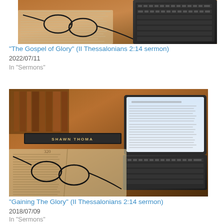[Figure (photo): Photo of reading glasses and a keyboard on an open book/desk with warm lighting]
“The Gospel of Glory” (II Thessalonians 2:14 sermon)
2022/07/11
In “Sermons”
[Figure (photo): Photo of a laptop computer with document open, nameplate reading SHAWN THOMA, open book with glasses, warm lighting]
“Gaining The Glory” (II Thessalonians 2:14 sermon)
2018/07/09
In “Sermons”